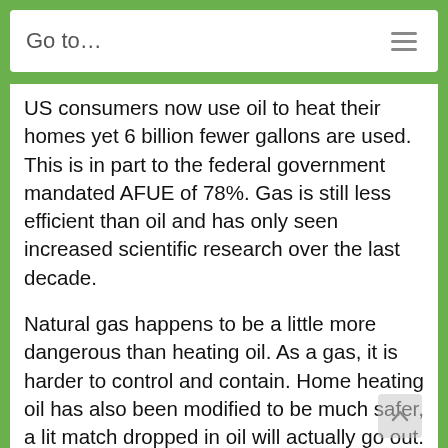Go to...
US consumers now use oil to heat their homes yet 6 billion fewer gallons are used. This is in part to the federal government mandated AFUE of 78%. Gas is still less efficient than oil and has only seen increased scientific research over the last decade.
Natural gas happens to be a little more dangerous than heating oil. As a gas, it is harder to control and contain. Home heating oil has also been modified to be much safer, a lit match dropped in oil will actually go out.
Lastly, heating oil has many full service options for portability, deliverability and modification that effect the price and consistency. In contrast, gas comes in fewer varieties with fewer choices.
Overall, it seems heating oil is the best option. For those making the choice to obtain home heating oil...